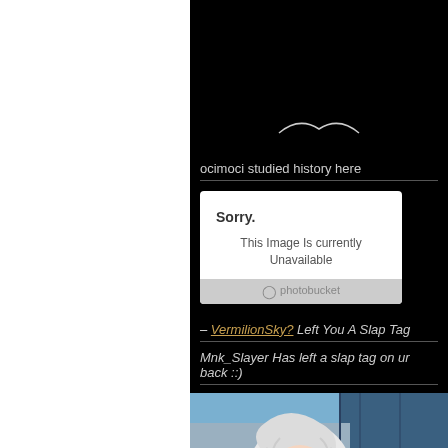ocimoci studied history here
[Figure (screenshot): Photobucket placeholder showing 'Sorry. This Image Is Currently Unavailable']
– VermilionSky? Left You A Slap Tag
Mnk_Slayer Has left a slap tag on ur back ::)
[Figure (illustration): Anime illustration of a girl with white/silver hair looking forward]